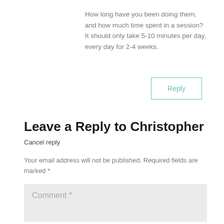How long have you been doing them, and how much time spent in a session?
It should only take 5-10 minutes per day, every day for 2-4 weeks.
Reply
Leave a Reply to Christopher
Cancel reply
Your email address will not be published. Required fields are marked *
Comment *